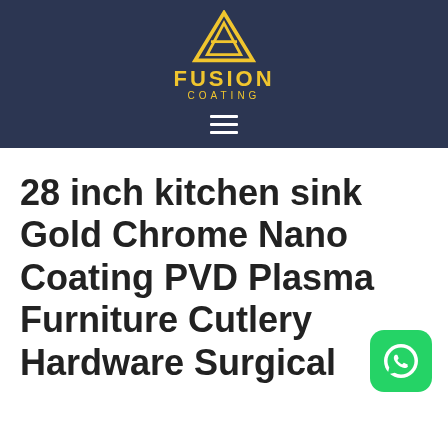[Figure (logo): Fusion Coating logo with yellow triangle/mountain graphic and text 'FUSION COATING' on dark navy background, with hamburger menu icon below]
28 inch kitchen sink Gold Chrome Nano Coating PVD Plasma Furniture Cutlery Hardware Surgical